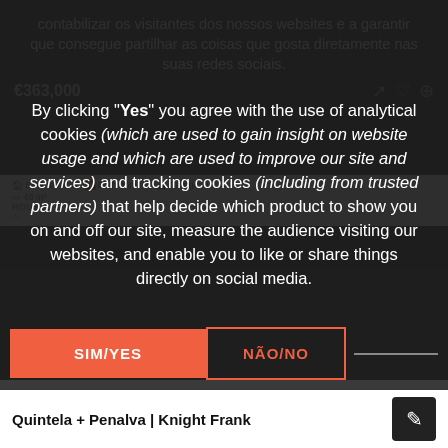[Figure (screenshot): Dark real estate listing card showing property price €363,000 with Portuguese text overlay about cookie consent]
By clicking "Yes" you agree with the use of analytical cookies (which are used to gain insight on website usage and which are used to improve our site and services) and tracking cookies (including from trusted partners) that help decide which product to show you on and off our site, measure the audience visiting our websites, and enable you to like or share things directly on social media.
SIM/YES
NÃO/NO
Quintela + Penalva | Knight Frank